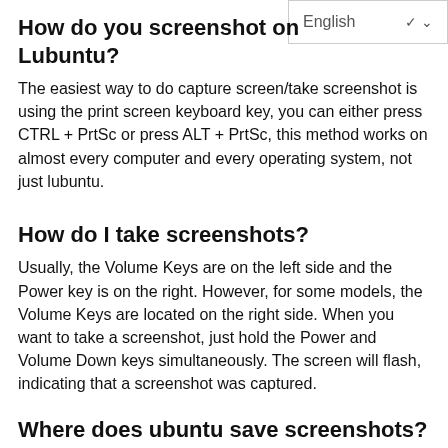How do you screenshot on Lubuntu?
The easiest way to do capture screen/take screenshot is using the print screen keyboard key, you can either press CTRL + PrtSc or press ALT + PrtSc, this method works on almost every computer and every operating system, not just lubuntu.
How do I take screenshots?
Usually, the Volume Keys are on the left side and the Power key is on the right. However, for some models, the Volume Keys are located on the right side. When you want to take a screenshot, just hold the Power and Volume Down keys simultaneously. The screen will flash, indicating that a screenshot was captured.
Where does ubuntu save screenshots?
screenshot is a default application for taking screenshots on